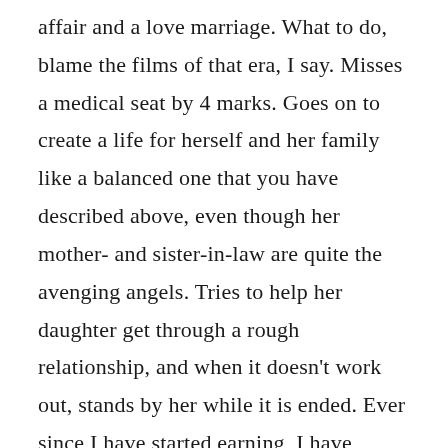affair and a love marriage. What to do, blame the films of that era, I say. Misses a medical seat by 4 marks. Goes on to create a life for herself and her family like a balanced one that you have described above, even though her mother- and sister-in-law are quite the avenging angels. Tries to help her daughter get through a rough relationship, and when it doesn't work out, stands by her while it is ended. Ever since I have started earning, I have helped my mother spread her wings out as much as she can, even if my father is not that supportive of her activities and tries to hamper them at any point. The fact that we can see the